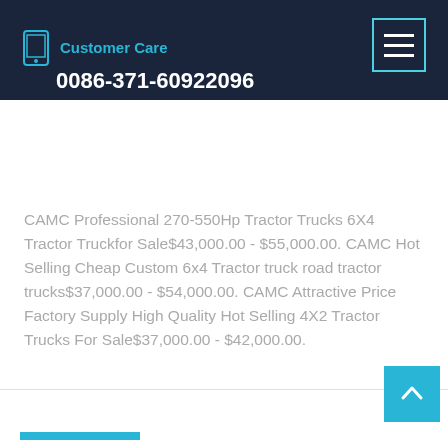Customer Care 0086-371-60922096
CAMC Professional 270-550Hp Tractor Trucks 6X4 Tractor Truckfor Sale$43,000.00 - $55,000.00. CAMC Hot Selling Cheap Custom 6x4 Tractor truck road tractor trucks$37,000.00 - $54,000.00. CAMC Attractive Price Factory Supply High Quality Hot Selling 4X2 Tractor Trucks For Sale$37,000.00 - $42,000.00.
Learn More